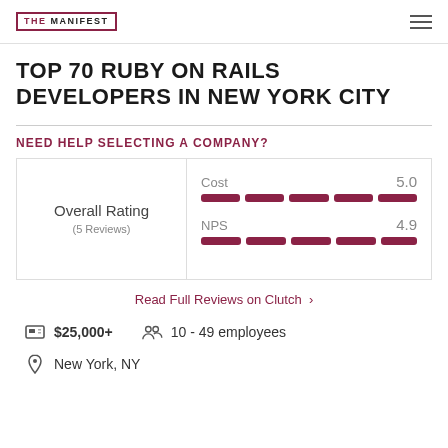THE MANIFEST
TOP 70 RUBY ON RAILS DEVELOPERS IN NEW YORK CITY
NEED HELP SELECTING A COMPANY?
| Category | Score |
| --- | --- |
| Overall Rating | (5 Reviews) |
| Cost | 5.0 |
| NPS | 4.9 |
Read Full Reviews on Clutch >
$25,000+
10 - 49 employees
New York, NY